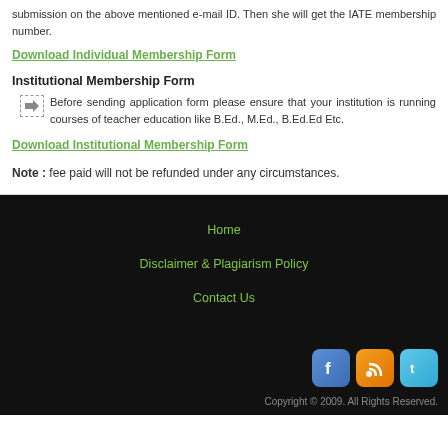submission on the above mentioned e-mail ID. Then she will get the IATE membership number.
Download Individual Membership Form
Institutional Membership Form
Before sending application form please ensure that your institution is running courses of teacher education like B.Ed., M.Ed., B.Ed.Ed Etc.
Download Institutional Membership Form
Note : fee paid will not be refunded under any circumstances.
Home
Disclaimer & Plagiarism Policy
Contact Us
Copyright © 2009. All Rights Reserved.